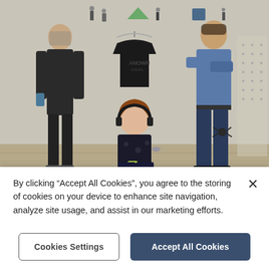[Figure (photo): Three people standing/kneeling in front of a white wall displaying small illustrated character figures and a black t-shirt on a hanger. Left: tall person in dark clothes. Center: person kneeling with headphones around neck, holding a can. Right: person in blue shirt with arms crossed. Wooden floor visible.]
By clicking “Accept All Cookies”, you agree to the storing of cookies on your device to enhance site navigation, analyze site usage, and assist in our marketing efforts.
Cookies Settings
Accept All Cookies